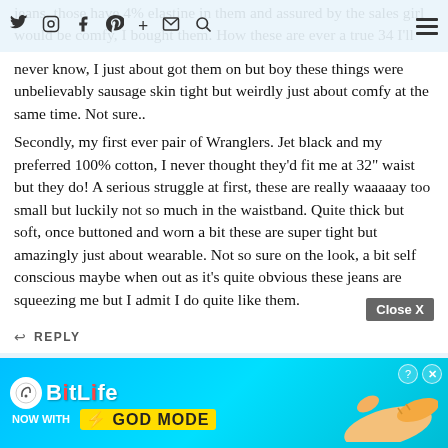Navigation bar with social icons: Twitter, Instagram, Facebook, Pinterest, Plus, Email, Search, and Hamburger menu
jeans, those have 4% elastine in them and assured by the sales girl would be comfy, I bought them. How these are ever a true 34 I'll never know, I just about got them on but boy these things were unbelievably sausage skin tight but weirdly just about comfy at the same time. Not sure..
Secondly, my first ever pair of Wranglers. Jet black and my preferred 100% cotton, I never thought they'd fit me at 32" waist but they do! A serious struggle at first, these are really waaaaay too small but luckily not so much in the waistband. Quite thick but soft, once buttoned and worn a bit these are super tight but amazingly just about wearable. Not so sure on the look, a bit self conscious maybe when out as it's quite obvious these jeans are squeezing me but I admit I do quite like them.
So after all these years, my preference seems to have gone from tight jeans to super skinny – jury is still out on the stretch though. I just hope I can get over the self conscious thing lol!
Close X
↩ REPLY
[Figure (screenshot): BitLife advertisement banner: 'NOW WITH GOD MODE' on a blue gradient background with a hand/finger pointing graphic. Has close (X) and help (?) buttons in top right corner.]